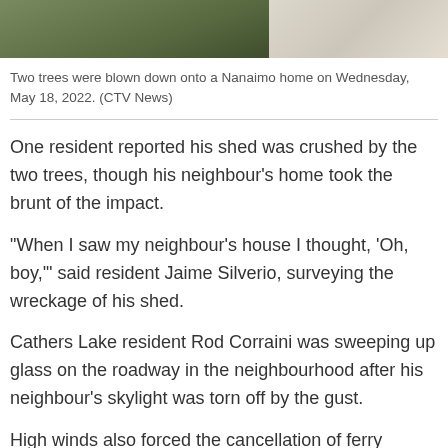[Figure (photo): Two trees blown down onto a Nanaimo home, split-view photo showing fallen trees on left and a building on right]
Two trees were blown down onto a Nanaimo home on Wednesday, May 18, 2022. (CTV News)
One resident reported his shed was crushed by the two trees, though his neighbour's home took the brunt of the impact.
"When I saw my neighbour's house I thought, 'Oh, boy,'" said resident Jaime Silverio, surveying the wreckage of his shed.
Cathers Lake resident Rod Corraini was sweeping up glass on the roadway in the neighbourhood after his neighbour's skylight was torn off by the gust.
High winds also forced the cancellation of ferry